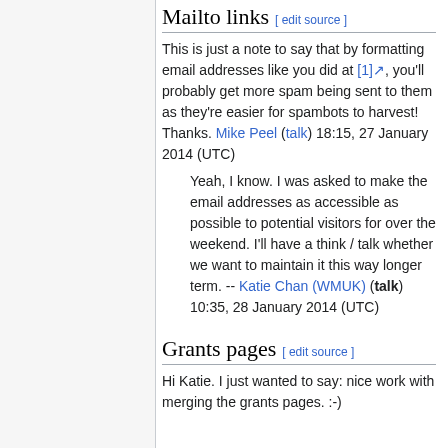Mailto links [ edit source ]
This is just a note to say that by formatting email addresses like you did at [1], you'll probably get more spam being sent to them as they're easier for spambots to harvest! Thanks. Mike Peel (talk) 18:15, 27 January 2014 (UTC)
Yeah, I know. I was asked to make the email addresses as accessible as possible to potential visitors for over the weekend. I'll have a think / talk whether we want to maintain it this way longer term. -- Katie Chan (WMUK) (talk) 10:35, 28 January 2014 (UTC)
Grants pages [ edit source ]
Hi Katie. I just wanted to say: nice work with merging the grants pages. :-)